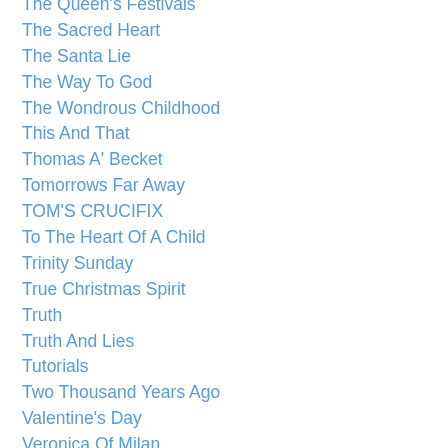The Queen's Festivals
The Sacred Heart
The Santa Lie
The Way To God
The Wondrous Childhood
This And That
Thomas A' Becket
Tomorrows Far Away
TOM'S CRUCIFIX
To The Heart Of A Child
Trinity Sunday
True Christmas Spirit
Truth
Truth And Lies
Tutorials
Two Thousand Years Ago
Valentine's Day
Veronica Of Milan
Vigil Of Epiphany
Whitsunday
Whom The Lord Loveth